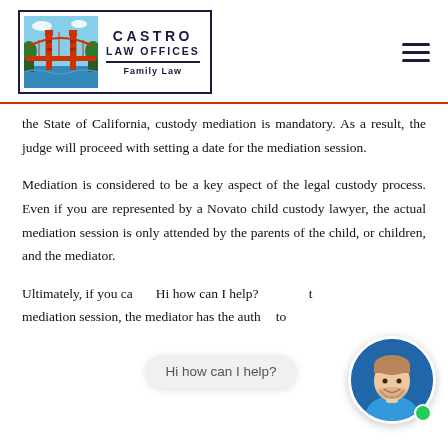[Figure (logo): Castro Law Offices logo with Golden Gate Bridge illustration and 'Family Law' subtitle]
the State of California, custody mediation is mandatory. As a result, the judge will proceed with setting a date for the mediation session.
Mediation is considered to be a key aspect of the legal custody process. Even if you are represented by a Novato child custody lawyer, the actual mediation session is only attended by the parents of the child, or children, and the mediator.
Ultimately, if you ca... mediation session, the mediator has the auth...to